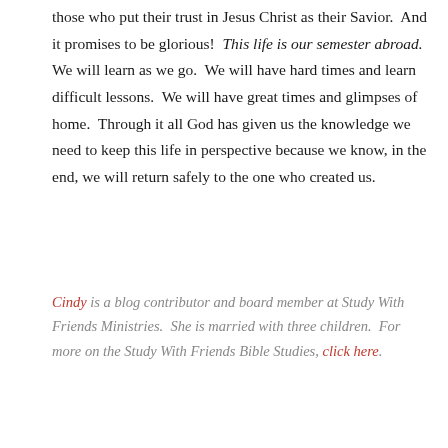those who put their trust in Jesus Christ as their Savior.  And it promises to be glorious!  This life is our semester abroad.  We will learn as we go.  We will have hard times and learn difficult lessons.  We will have great times and glimpses of home.  Through it all God has given us the knowledge we need to keep this life in perspective because we know, in the end, we will return safely to the one who created us.
Cindy is a blog contributor and board member at Study With Friends Ministries.  She is married with three children.  For more on the Study With Friends Bible Studies, click here.